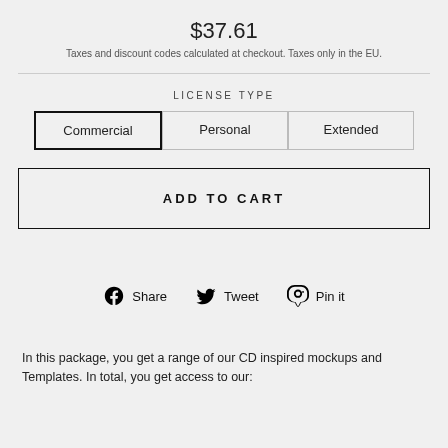$37.61
Taxes and discount codes calculated at checkout. Taxes only in the EU.
LICENSE TYPE
Commercial
Personal
Extended
ADD TO CART
Share   Tweet   Pin it
In this package, you get a range of our CD inspired mockups and Templates. In total, you get access to our: